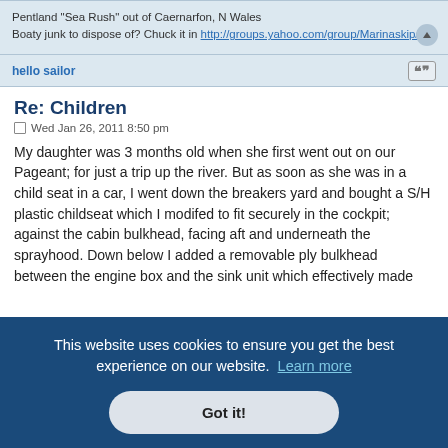Pentland "Sea Rush" out of Caernarfon, N Wales
Boaty junk to dispose of? Chuck it in http://groups.yahoo.com/group/Marinaskip/
hello sailor
Re: Children
Wed Jan 26, 2011 8:50 pm
My daughter was 3 months old when she first went out on our Pageant; for just a trip up the river. But as soon as she was in a child seat in a car, I went down the breakers yard and bought a S/H plastic childseat which I modifed to fit securely in the cockpit; against the cabin bulkhead, facing aft and underneath the sprayhood. Down below I added a removable ply bulkhead between the engine box and the sink unit which effectively made
This website uses cookies to ensure you get the best experience on our website. Learn more
Got it!